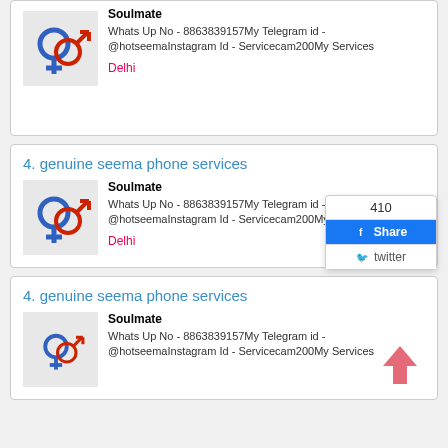[Figure (other): Partial listing card showing Soulmate category, contact details and Delhi location with gender symbol icon]
4. genuine seema phone services
Soulmate
Whats Up No - 8863839157My Telegram id - @hotseemaInstagram Id - Servicecam200My Services
Delhi
[Figure (screenshot): Share popup with count 410, Facebook Share button, and twitter button]
4. genuine seema phone services
Soulmate
Whats Up No - 8863839157My Telegram id - @hotseemaInstagram Id - Servicecam200My Services
Delhi
[Figure (other): Up arrow icon (scroll to top)]